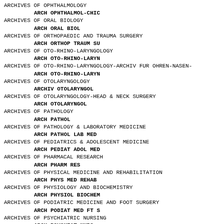ARCHIVES OF OPHTHALMOLOGY
  ARCH OPHTHALMOL-CHIC
ARCHIVES OF ORAL BIOLOGY
  ARCH ORAL BIOL
ARCHIVES OF ORTHOPAEDIC AND TRAUMA SURGERY
  ARCH ORTHOP TRAUM SU
ARCHIVES OF OTO-RHINO-LARYNGOLOGY
  ARCH OTO-RHINO-LARYN
ARCHIVES OF OTO-RHINO-LARYNGOLOGY-ARCHIV FUR OHREN-NASEN-
  ARCH OTO-RHINO-LARYN
ARCHIVES OF OTOLARYNGOLOGY
  ARCHIV OTOLARYNGOL
ARCHIVES OF OTOLARYNGOLOGY-HEAD & NECK SURGERY
  ARCH OTOLARYNGOL
ARCHIVES OF PATHOLOGY
  ARCH PATHOL
ARCHIVES OF PATHOLOGY & LABORATORY MEDICINE
  ARCH PATHOL LAB MED
ARCHIVES OF PEDIATRICS & ADOLESCENT MEDICINE
  ARCH PEDIAT ADOL MED
ARCHIVES OF PHARMACAL RESEARCH
  ARCH PHARM RES
ARCHIVES OF PHYSICAL MEDICINE AND REHABILITATION
  ARCH PHYS MED REHAB
ARCHIVES OF PHYSIOLOGY AND BIOCHEMISTRY
  ARCH PHYSIOL BIOCHEM
ARCHIVES OF PODIATRIC MEDICINE AND FOOT SURGERY
  ARCH PODIAT MED FT S
ARCHIVES OF PSYCHIATRIC NURSING
  ARCH PSYCHIAT NURS